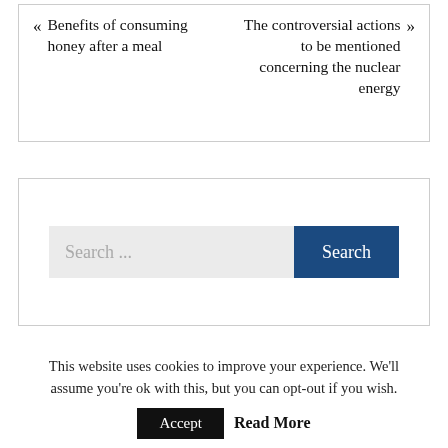« Benefits of consuming honey after a meal
The controversial actions to be mentioned concerning the nuclear energy »
Search ...
This website uses cookies to improve your experience. We'll assume you're ok with this, but you can opt-out if you wish.
Accept  Read More